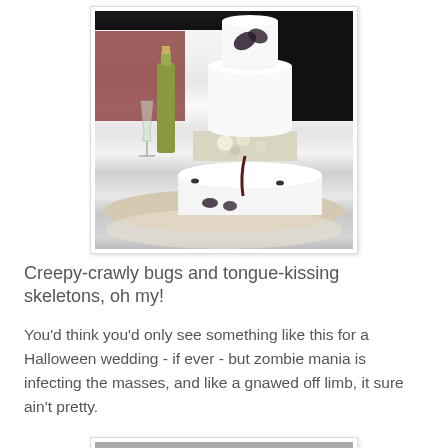[Figure (photo): A multi-tiered white wedding cake decorated with dark bug/spider decorations and a large spider on top, with champagne bottle and glass beside it, flowers between tiers, sitting on a table with lace tablecloth.]
Creepy-crawly bugs and tongue-kissing skeletons, oh my!
You'd think you'd only see something like this for a Halloween wedding - if ever - but zombie mania is infecting the masses, and like a gnawed off limb, it sure ain't pretty.
[Figure (photo): Partial view of another image at the bottom of the page (cropped).]